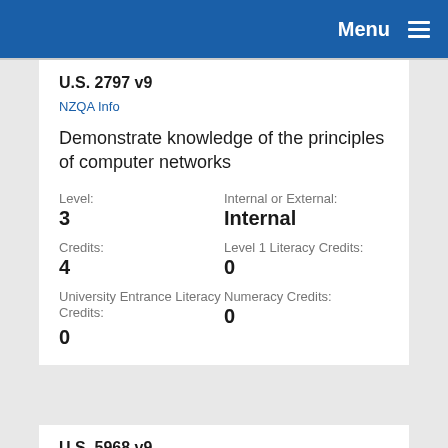Menu
U.S. 2797 v9
NZQA Info
Demonstrate knowledge of the principles of computer networks
Level:
3
Credits:
4
University Entrance Literacy Credits:
0
Internal or External:
Internal
Level 1 Literacy Credits:
0
Numeracy Credits:
0
U.S. 5968 v9